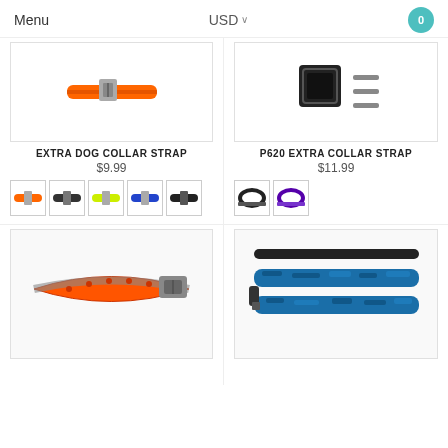Menu   USD   0
[Figure (photo): Orange dog collar strap product image]
EXTRA DOG COLLAR STRAP
$9.99
[Figure (photo): Color variant swatches for Extra Dog Collar Strap: orange, black, yellow-green, blue, black]
[Figure (photo): P620 Extra Collar Strap product image with buckle hardware]
P620 EXTRA COLLAR STRAP
$11.99
[Figure (photo): Color variant swatches for P620 Extra Collar Strap: black, purple]
[Figure (photo): Orange reflective dog collar with metal buckle]
[Figure (photo): Blue camouflage bungee dog leash]